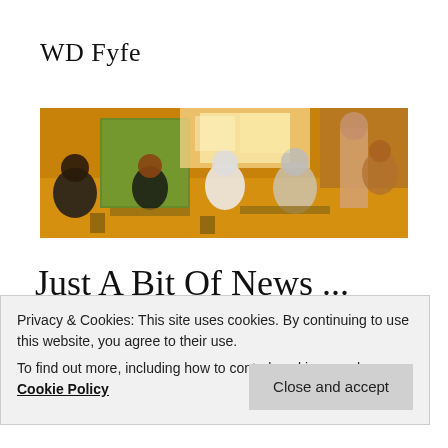WD Fyfe
[Figure (photo): Wide banner photo of a busy restaurant/cafe scene with people sitting at tables, warm orange and green tones, stylized/painted appearance]
Just A Bit Of News ...
Here's just a bit of news from around the planet
Privacy & Cookies: This site uses cookies. By continuing to use this website, you agree to their use.
To find out more, including how to control cookies, see here: Cookie Policy
Close and accept